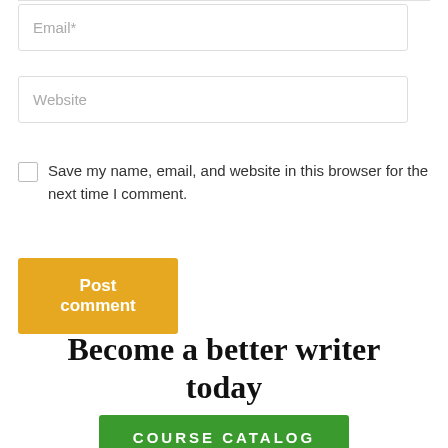Email*
Website
Save my name, email, and website in this browser for the next time I comment.
Post comment
Become a better writer today
COURSE CATALOG